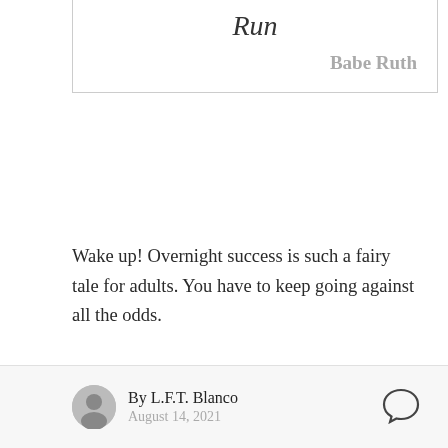Run
Babe Ruth
Wake up! Overnight success is such a fairy tale for adults. You have to keep going against all the odds.
Keep working on your game. Build your skills, gain experience, and don't stop learning. Learn from your mistakes and work on your weaknesses. Make adjustments, not excuses.
By L.F.T. Blanco
August 14, 2021